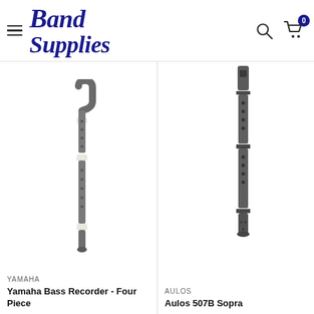Band Supplies — navigation header with hamburger menu, logo, search icon, and cart (0 items)
[Figure (photo): Yamaha Bass Recorder instrument shown vertically, dark grey/charcoal color with white joint rings, four-piece design with curved mouthpiece at top]
YAMAHA
Yamaha Bass Recorder - Four Piece
[Figure (photo): Aulos 507B Sopranino/Soprano recorder shown vertically, dark metallic/graphite color with finger holes visible]
AULOS
Aulos 507B Sopr...